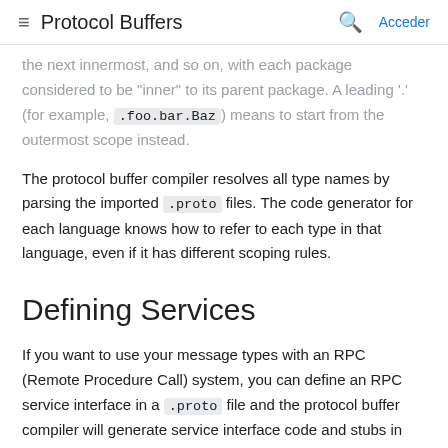≡ Protocol Buffers 🔍 Acceder
the next innermost, and so on, with each package considered to be "inner" to its parent package. A leading '.' (for example, .foo.bar.Baz) means to start from the outermost scope instead.
The protocol buffer compiler resolves all type names by parsing the imported .proto files. The code generator for each language knows how to refer to each type in that language, even if it has different scoping rules.
Defining Services
If you want to use your message types with an RPC (Remote Procedure Call) system, you can define an RPC service interface in a .proto file and the protocol buffer compiler will generate service interface code and stubs in